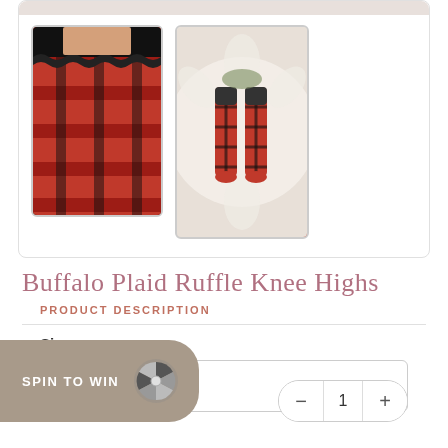[Figure (photo): Two thumbnail photos of Buffalo Plaid Ruffle Knee High socks. Left: red and black buffalo plaid socks with black ruffle tops on a wooden stool. Right: pair of plaid socks laid flat on a white floral/knit background.]
Buffalo Plaid Ruffle Knee Highs
PRODUCT DESCRIPTION
Size
6 – 24 Months
SPIN TO WIN
1